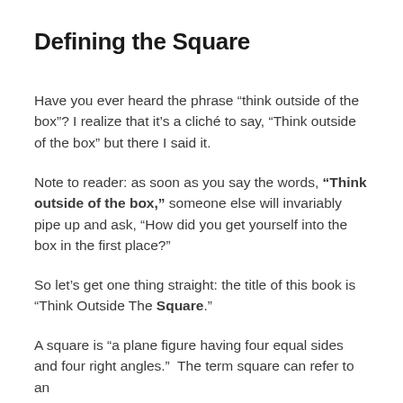Defining the Square
Have you ever heard the phrase “think outside of the box”? I realize that it’s a cliché to say, “Think outside of the box” but there I said it.
Note to reader: as soon as you say the words, “Think outside of the box,” someone else will invariably pipe up and ask, “How did you get yourself into the box in the first place?”
So let’s get one thing straight: the title of this book is “Think Outside The Square.”
A square is “a plane figure having four equal sides and four right angles.”  The term square can refer to an